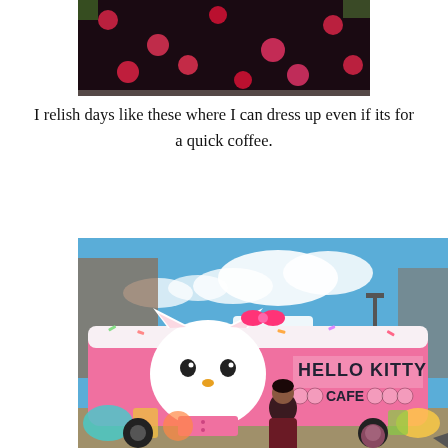[Figure (photo): Close-up photo of a person wearing a black and pink polka dot dress, cropped to show only the fabric/torso area]
I relish days like these where I can dress up even if its for a quick coffee.
[Figure (photo): Photo of a person standing in front of a pink Hello Kitty Cafe food truck with Hello Kitty branding, colorful dessert illustrations, blue sky with clouds in the background]